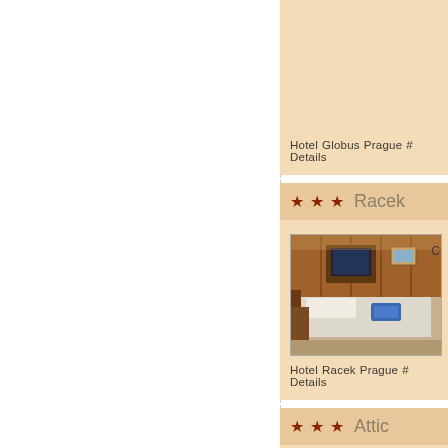Hotel Globus Prague # Details
★ ★ ★  Racek
[Figure (photo): Hotel room interior showing a single bed with wood-paneled walls, a TV on wall unit, and blue item on bed]
Hotel Racek Prague # Details
★ ★ ★  Attic